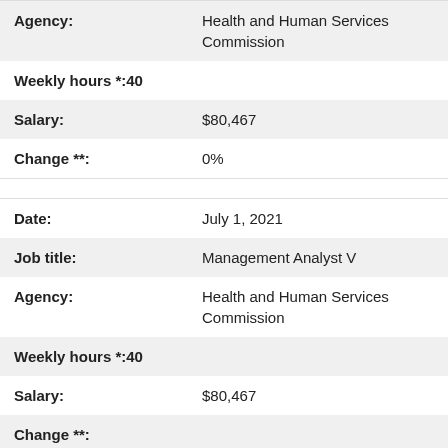| Agency: | Health and Human Services Commission |
| Weekly hours *: | 40 |
| Salary: | $80,467 |
| Change **: | 0% |
| Date: | July 1, 2021 |
| Job title: | Management Analyst V |
| Agency: | Health and Human Services Commission |
| Weekly hours *: | 40 |
| Salary: | $80,467 |
| Change **: |  |